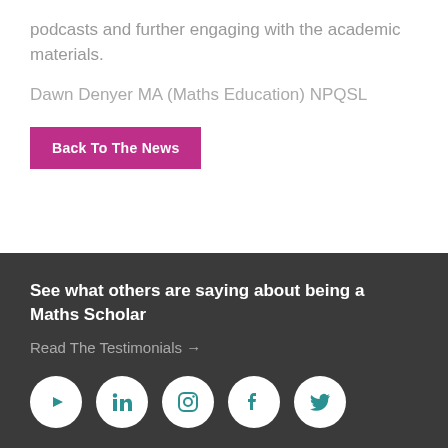podcasts and further engaging with the academic materials.
Dawn Denyer MA (Maths Education) NPQSL
Back To The News
See what others are saying about being a Maths Scholar
Read The Testimonials →
[Figure (other): Row of five social media icons: YouTube, LinkedIn, Instagram, Facebook, Twitter — white circles on dark background with teal icons]